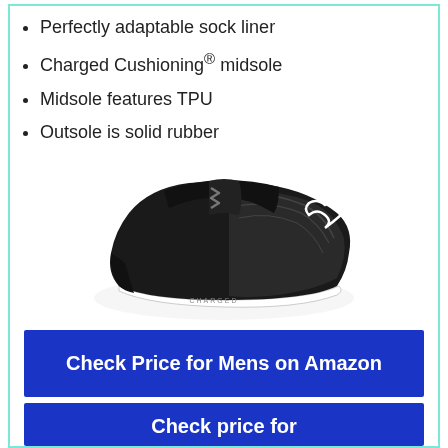Perfectly adaptable sock liner
Charged Cushioning® midsole
Midsole features TPU
Outsole is solid rubber
[Figure (photo): Black Under Armour Charged running shoe with white midsole, viewed from the side]
Check Price for Mens on Amazon
Check price for...